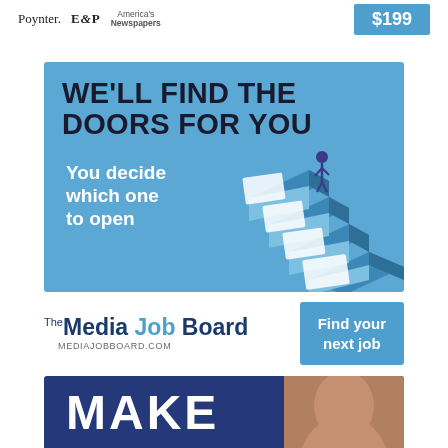[Figure (logo): Top bar with Poynter, E&P, America's Newspapers logos and $199 price box]
[Figure (infographic): Media Job Board advertisement: blue background with 'WE'LL FIND THE DOORS FOR YOU' headline, 'You decide which one to open' subheading, stair-step illustration with figure standing at top]
[Figure (logo): Media Job Board logo with 'The Media Job Board' branding and MEDIAJOBBOARD.COM URL, alongside 'Find your next job' button]
[Figure (infographic): Bottom partial advertisement with dark blue background showing 'MAKE' text and partial face photo]